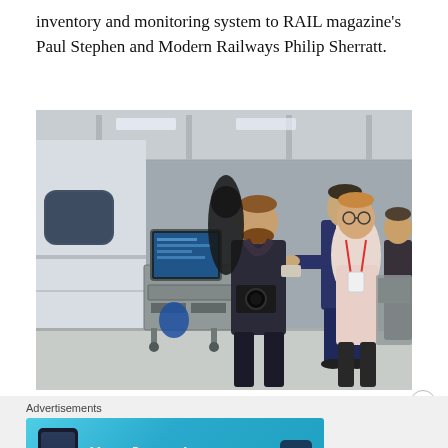inventory and monitoring system to RAIL magazine's Paul Stephen and Modern Railways Philip Sherratt.
[Figure (photo): Several men in a railway manufacturing facility. A man in a navy suit demonstrates a tablet/computer on a trolley next to a train carriage while journalists with cameras and notebooks observe.]
Advertisements
[Figure (screenshot): Advertisement banner: 'Your Journal for life' — DayOne app advertisement with blue gradient background, phone mockup on left, app icon on right.]